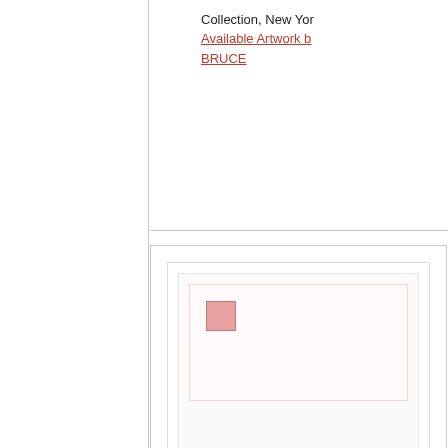Collection, New York
Available Artwork by BRUCE
[Figure (other): Nested card UI element with pink icon square placeholder]
[Figure (photo): Black and white photograph of a bald man looking to the side, wearing a white t-shirt, with a pink border frame]